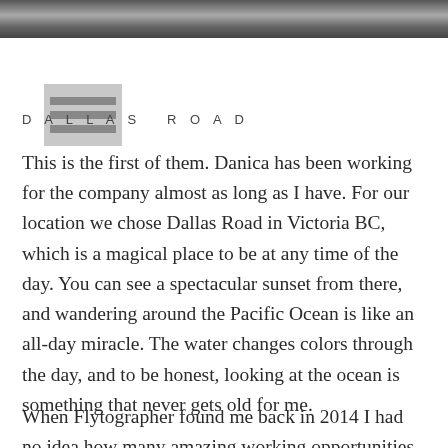[Figure (photo): Grayscale photo strip at top of page, partially cropped]
[Figure (logo): Gray square logo with three horizontal lines, resembling a menu/hamburger icon]
DALLAS ROAD
This is the first of them. Danica has been working for the company almost as long as I have. For our location we chose Dallas Road in Victoria BC, which is a magical place to be at any time of the day. You can see a spectacular sunset from there, and wandering around the Pacific Ocean is like an all-day miracle. The water changes colors through the day, and to be honest, looking at the ocean is something that never gets old for me.
When Flytographer found me back in 2014 I had no idea how many amazing working opportunities this